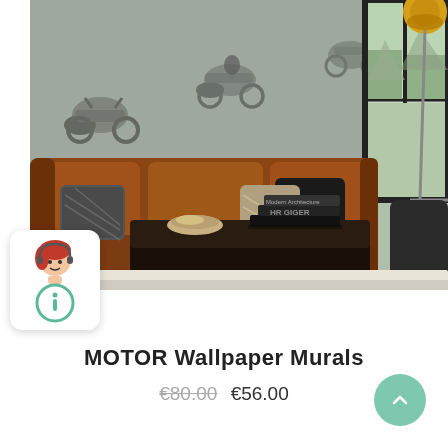[Figure (photo): Interior photo of a living room with a large brown leather sofa, motorcycle wallpaper mural on the wall, a dark square coffee table with books and a bowl on it, a cream rug, and a gold industrial floor lamp in the top right corner.]
[Figure (illustration): Customer support chat avatar icon: cartoon person with red hair and headset above a teal circle with a lowercase 'i' (information symbol). White rounded square background with drop shadow.]
MOTOR Wallpaper Murals
€80.00  €56.00